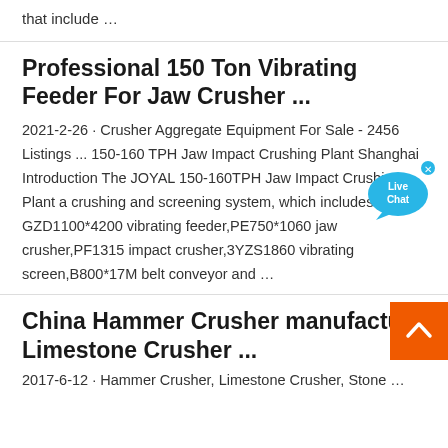that include …
Professional 150 Ton Vibrating Feeder For Jaw Crusher ...
2021-2-26 · Crusher Aggregate Equipment For Sale - 2456 Listings ... 150-160 TPH Jaw Impact Crushing Plant Shanghai Introduction The JOYAL 150-160TPH Jaw Impact Crushing Plant a crushing and screening system, which includes GZD1100*4200 vibrating feeder,PE750*1060 jaw crusher,PF1315 impact crusher,3YZS1860 vibrating screen,B800*17M belt conveyor and …
China Hammer Crusher manufacture Limestone Crusher ...
2017-6-12 · Hammer Crusher, Limestone Crusher, Stone …